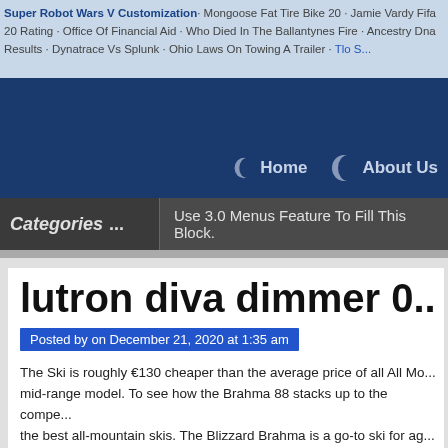Super Robot Wars V Customization · Mongoose Fat Tire Bike 20 · Jamie Vardy Fifa 20 Rating · Office Of Financial Aid · Who Died In The Ballantynes Fire · Ancestry Dna Results · Dynatrace Vs Splunk · Ohio Laws On Towing A Trailer · Tlo S...
Home   About Us
Categories ...   Use 3.0 Menus Feature To Fill This Block.
lutron diva dimmer 0...
Posted by on December 21, 2020 at 1:35 am
The Ski is roughly €130 cheaper than the average price of all All Mo... mid-range model. To see how the Brahma 88 stacks up to the compe... the best all-mountain skis. The Blizzard Brahma is a go-to ski for ag... be spending the majority of their time on the frontside of the mounta... turns, pounding through the bumps, or dipping off trail from time to ti...